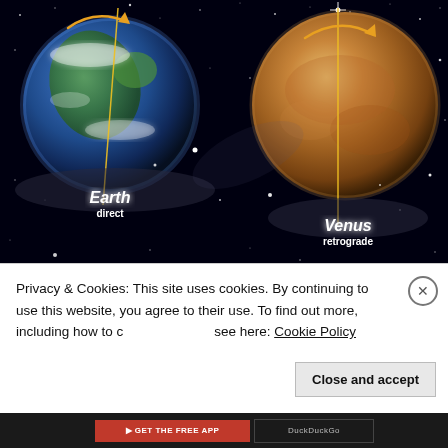[Figure (illustration): Space illustration showing Earth (left, labeled 'Earth direct' with a counter-clockwise rotation arrow) and Venus (right, labeled 'Venus retrograde' with a clockwise rotation arrow) against a black starfield background. Yellow lines indicate rotation axes and arrows show rotation direction.]
Privacy & Cookies: This site uses cookies. By continuing to use this website, you agree to their use. To find out more, including how to control cookies, see here: Cookie Policy
Close and accept